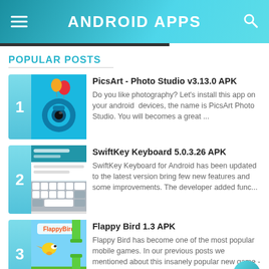ANDROID APPS
POPULAR POSTS
PicsArt - Photo Studio v3.13.0 APK — Do you like photography? Let's install this app on your android devices, the name is PicsArt Photo Studio. You will becomes a great ...
SwiftKey Keyboard 5.0.3.26 APK — SwiftKey Keyboard for Android has been updated to the latest version bring few new features and some improvements. The developer added func...
Flappy Bird 1.3 APK — Flappy Bird has become one of the most popular mobile games. In our previous posts we mentioned about this insanely popular new game - ...